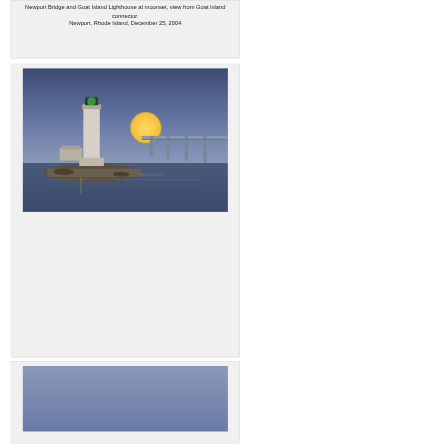Newport Bridge and Goat Island Lighthouse at moonset, view from Goat Island connector. Newport, Rhode Island, December 25, 2004
[Figure (photo): Goat Island Lighthouse and Newport Bridge at moonset with large full moon visible, view from Goat Island causeway. Newport, Rhode Island, November 26, 2004]
.../2004/426/04.htm   similar
Goat Island Lighthouse and Newport Bridge at moonset, view from Goat Island causeway. Newport, Rhode Island, November 26, 2004
[Figure (photo): Partial view of night/dusk sky over water, cropped at bottom of page]